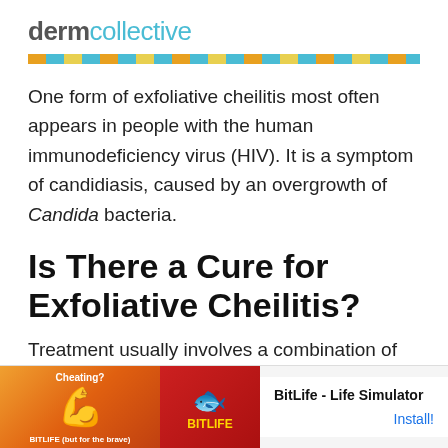dermcollective
One form of exfoliative cheilitis most often appears in people with the human immunodeficiency virus (HIV). It is a symptom of candidiasis, caused by an overgrowth of Candida bacteria.
Is There a Cure for Exfoliative Cheilitis?
Treatment usually involves a combination of address...
[Figure (other): Advertisement banner for BitLife - Life Simulator mobile game, showing muscular arm graphic on orange background on left, BitLife sperm logo on red background, and Install button on right.]